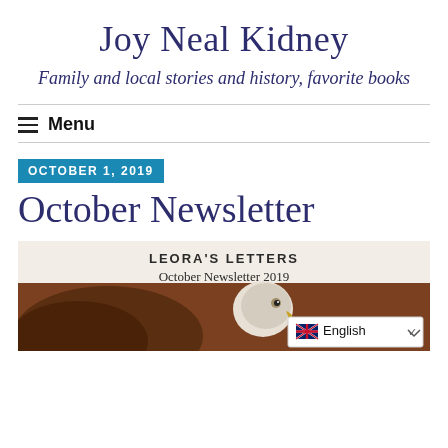Joy Neal Kidney
Family and local stories and history, favorite books
Menu
OCTOBER 1, 2019
October Newsletter
[Figure (photo): Newsletter cover image showing 'LEORA'S LETTERS October Newsletter 2019' header text over a background with an eagle, with an English language picker overlay in the bottom right corner.]